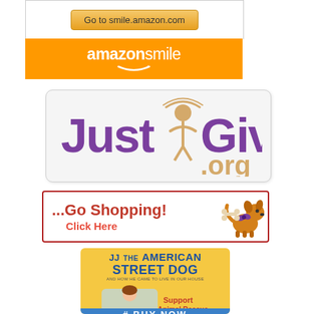[Figure (logo): Amazon Smile section: top white box with 'Go to smile.amazon.com' button, orange bar below with 'amazonsmile' logo and arrow]
[Figure (logo): JustGive.org logo in rounded gray box: purple text 'Just' and 'Give', tan stick figure in between, tan curved line above, '.org' in tan below]
[Figure (infographic): Red-bordered white banner reading '...Go Shopping!' and 'Click Here' in red, with cartoon orange dog holding bone on right]
[Figure (illustration): JJ THE AMERICAN STREET DOG book cover, yellow background, blue title text, subtitle 'and how he came to live in our house', child illustration, 'Support Animal Rescue' in red, '# BUY NOW' in blue bar]